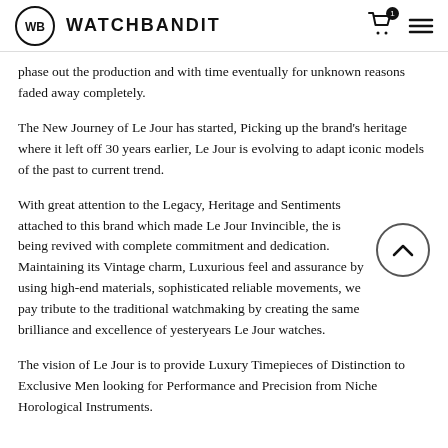WATCHBANDIT
phase out the production and with time eventually for unknown reasons faded away completely.
The New Journey of Le Jour has started, Picking up the brand's heritage where it left off 30 years earlier, Le Jour is evolving to adapt iconic models of the past to current trend.
With great attention to the Legacy, Heritage and Sentiments attached to this brand which made Le Jour Invincible, the is being revived with complete commitment and dedication. Maintaining its Vintage charm, Luxurious feel and assurance by using high-end materials, sophisticated reliable movements, we pay tribute to the traditional watchmaking by creating the same brilliance and excellence of yesteryears Le Jour watches.
The vision of Le Jour is to provide Luxury Timepieces of Distinction to Exclusive Men looking for Performance and Precision from Niche Horological Instruments.